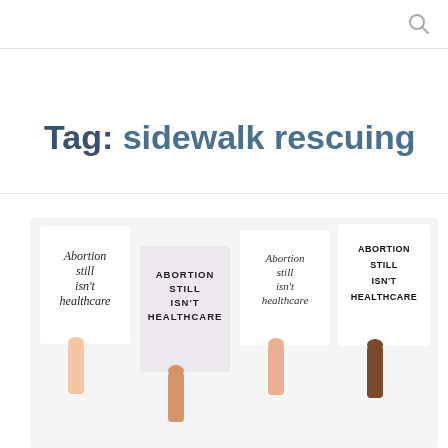Tag: sidewalk rescuing
[Figure (illustration): Illustration of four protest signs held up by hands with different skin tones, each reading 'Abortion still isn't healthcare' in various handwritten styles]